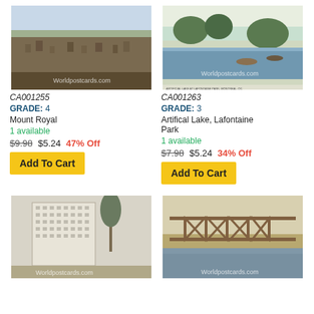[Figure (photo): Vintage postcard of Mount Royal, aerial city view with watermark Worldpostcards.com]
CA001255
GRADE: 4
Mount Royal
1 available
$9.98 $5.24 47% Off
Add To Cart
[Figure (photo): Vintage postcard of Artificial Lake at Lafontaine Park, Montreal, with watermark Worldpostcards.com]
CA001263
GRADE: 3
Artifical Lake, Lafontaine Park
1 available
$7.98 $5.24 34% Off
Add To Cart
[Figure (photo): Vintage postcard of a large building, black and white style, with watermark Worldpostcards.com]
[Figure (photo): Vintage postcard of a bridge over water, with watermark Worldpostcards.com]